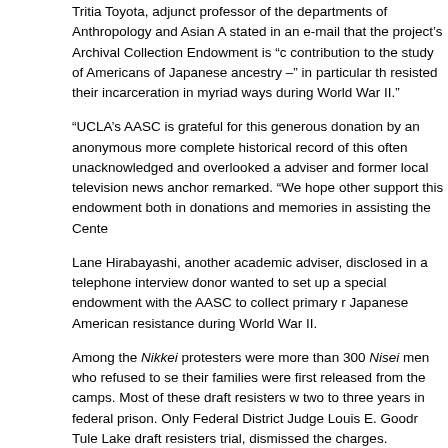Tritia Toyota, adjunct professor of the departments of Anthropology and Asian A... stated in an e-mail that the project’s Archival Collection Endowment is “... contribution to the study of Americans of Japanese ancestry –” in particular th... resisted their incarceration in myriad ways during World War II.”
“UCLA’s AASC is grateful for this generous donation by an anonymous... more complete historical record of this often unacknowledged and overlooked a... adviser and former local television news anchor remarked. “We hope other... support this endowment both in donations and memories in assisting the Cente...
Lane Hirabayashi, another academic adviser, disclosed in a telephone interview... donor wanted to set up a special endowment with the AASC to collect primary r... Japanese American resistance during World War II.
Among the Nikkei protesters were more than 300 Nisei men who refused to se... their families were first released from the camps. Most of these draft resisters w... two to three years in federal prison. Only Federal District Judge Louis E. Goodr... Tule Lake draft resisters trial, dismissed the charges.
‘Voluntary Evacuee’
One such draft resister was Harry Yoshikawa, now 92. He was a “voluntary... with his family to Colorado in early 1942 after the outbreak of war with Japan b... incarceration of Nikkei.
When Yoshikawa heard the news about Japan attacking Pearl Harbor, he said...